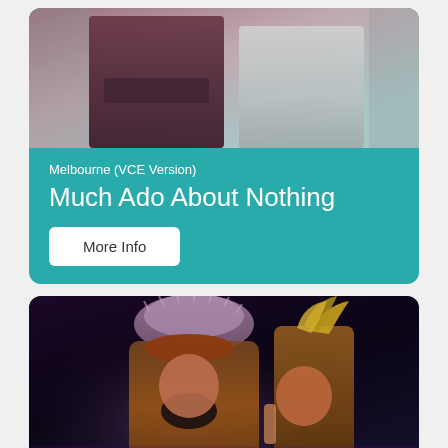[Figure (photo): Photo of two performers in costume on a teal background card labeled Much Ado About Nothing (Melbourne VCE Version)]
Melbourne (VCE Version)
Much Ado About Nothing
More Info
[Figure (photo): Photo of two performers in theatrical costumes on a dark stage — one wearing a large fur hat with a prominent false beard, the other wearing a feathered headdress, on a purple background card]